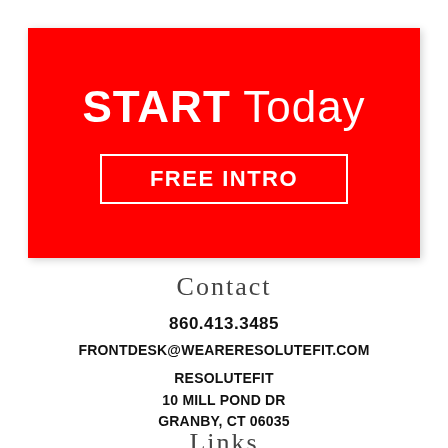[Figure (infographic): Red banner with white text 'START Today' and a white-bordered button 'FREE INTRO']
Contact
860.413.3485
FRONTDESK@WEARERESOLUTEFIT.COM
RESOLUTEFIT
10 MILL POND DR
GRANBY, CT 06035
Links